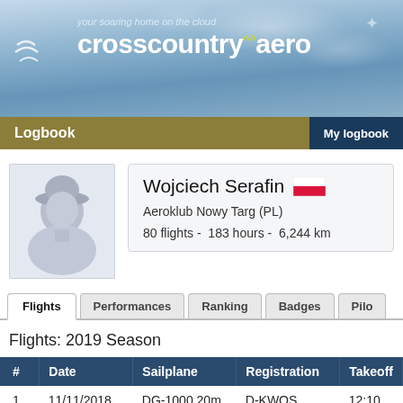[Figure (screenshot): crosscountry.aero website header banner with sky background, bird silhouettes logo, tagline 'your soaring home on the cloud' and site name 'crosscountry.aero']
Logbook | My logbook
[Figure (photo): Generic user avatar silhouette placeholder image]
Wojciech Serafin
Aeroklub Nowy Targ (PL)
80 flights - 183 hours - 6,244 km
Flights | Performances | Ranking | Badges | Pilot
Flights: 2019 Season
| # | Date | Sailplane | Registration | Takeoff |
| --- | --- | --- | --- | --- |
| 1 | 11/11/2018 | DG-1000 20m | D-KWOS | 12:10 |